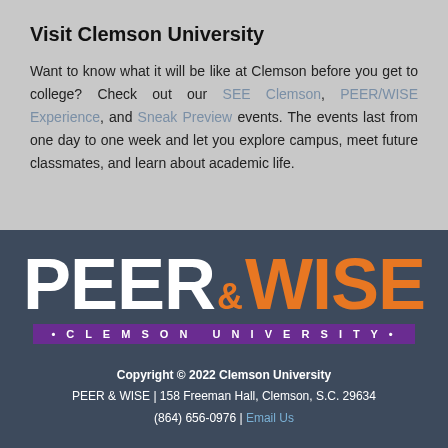Visit Clemson University
Want to know what it will be like at Clemson before you get to college? Check out our SEE Clemson, PEER/WISE Experience, and Sneak Preview events. The events last from one day to one week and let you explore campus, meet future classmates, and learn about academic life.
[Figure (logo): PEER & WISE Clemson University logo — white bold 'PEER' text, orange '& WISE' text, and purple bar reading '• CLEMSON UNIVERSITY •']
Copyright © 2022 Clemson University
PEER & WISE | 158 Freeman Hall, Clemson, S.C. 29634
(864) 656-0976 | Email Us